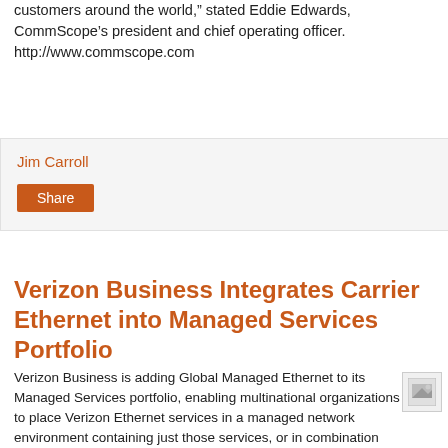customers around the world," stated Eddie Edwards, CommScope's president and chief operating officer. http://www.commscope.com
Jim Carroll
Share
Verizon Business Integrates Carrier Ethernet into Managed Services Portfolio
Verizon Business is adding Global Managed Ethernet to its Managed Services portfolio, enabling multinational organizations to place Verizon Ethernet services in a managed network environment containing just those services, or in combination with other network services for a complete end-to-end, global managed network solution.